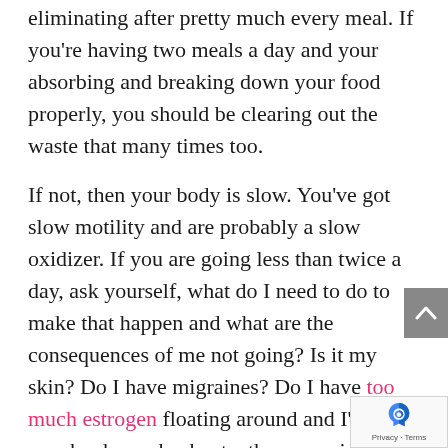eliminating after pretty much every meal. If you're having two meals a day and your absorbing and breaking down your food properly, you should be clearing out the waste that many times too.
If not, then your body is slow. You've got slow motility and are probably a slow oxidizer. If you are going less than twice a day, ask yourself, what do I need to do to make that happen and what are the consequences of me not going? Is it my skin? Do I have migraines? Do I have too much estrogen floating around and I've got sore boobs, so back, etc. these are signs and symptoms that